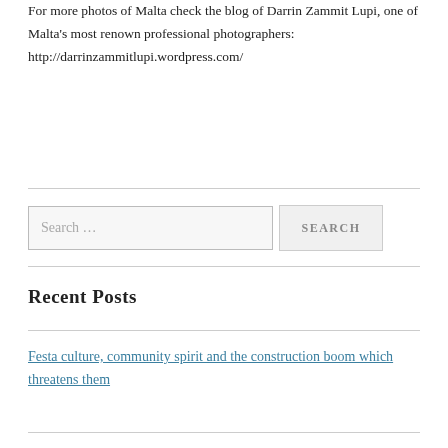For more photos of Malta check the blog of Darrin Zammit Lupi, one of Malta's most renown professional photographers: http://darrinzammitlupi.wordpress.com/
Search …
Recent Posts
Festa culture, community spirit and the construction boom which threatens them